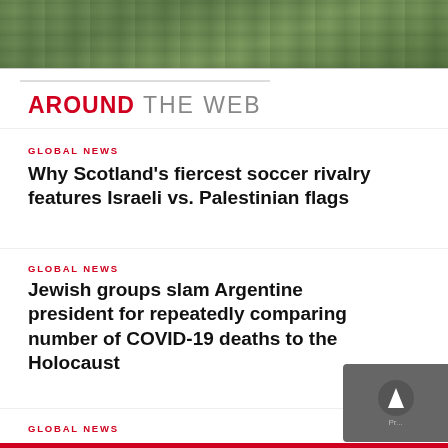[Figure (photo): Sports/outdoor photo strip at top of page, green field background]
AROUND THE WEB
GLOBAL NEWS
Why Scotland's fiercest soccer rivalry features Israeli vs. Palestinian flags
GLOBAL NEWS
Jewish groups slam Argentine president for repeatedly comparing number of COVID-19 deaths to the Holocaust
GLOBAL NEWS